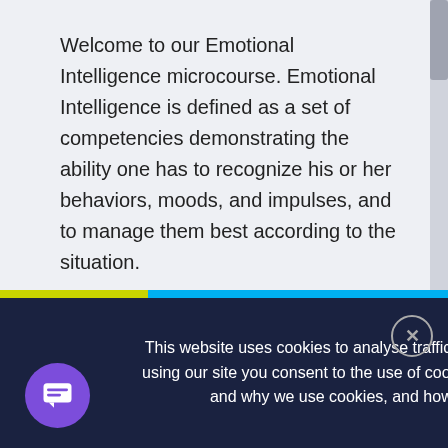Welcome to our Emotional Intelligence microcourse. Emotional Intelligence is defined as a set of competencies demonstrating the ability one has to recognize his or her behaviors, moods, and impulses, and to manage them best according to the situation.
This microcourse will give you the tools you need to be emotionally intelligent in your workplace. An employee with high emotional intelligence can
This website uses cookies to analyse traffic and offer you an improved browsing experience. By using our site you consent to the use of cookies. View our cookie policy to learn more about how and why we use cookies, and how you can disable them. Learn more   Got it